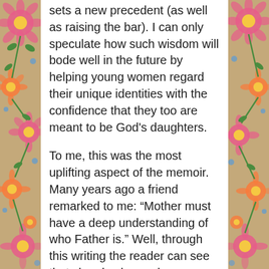sets a new precedent (as well as raising the bar). I can only speculate how such wisdom will bode well in the future by helping young women regard their unique identities with the confidence that they too are meant to be God's daughters.
To me, this was the most uplifting aspect of the memoir. Many years ago a friend remarked to me: “Mother must have a deep understanding of who Father is.” Well, through this writing the reader can see that she also has a deep understanding of who she is. “I sensed that I would one day represent all women — God’s daughters and the world’s mothers. ...By God’s hand, this Mother, who prays and longs for God’s Blessing for all 7.7 billion people on earth, can now advance peace widely.” (p. 112).